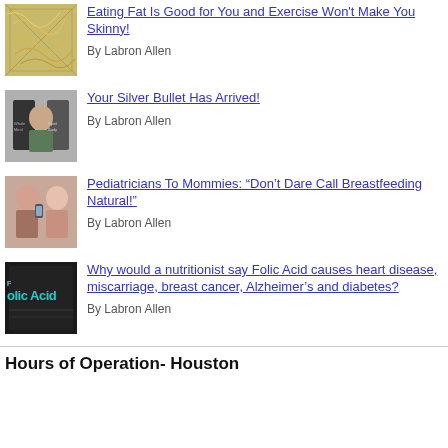[Figure (photo): Thumbnail image for article about eating fat and exercise]
Eating Fat Is Good for You and Exercise Won't Make You Skinny!
By Labron Allen
[Figure (photo): Thumbnail image of a child holding chalkboards for silver bullet article]
Your Silver Bullet Has Arrived!
By Labron Allen
[Figure (photo): Thumbnail image of women for breastfeeding article]
Pediatricians To Mommies: “Don’t Dare Call Breastfeeding Natural!”
By Labron Allen
[Figure (photo): Thumbnail chalkboard image with Folic Acid text for article about nutritionist]
Why would a nutritionist say Folic Acid causes heart disease, miscarriage, breast cancer, Alzheimer’s and diabetes?
By Labron Allen
Hours of Operation- Houston